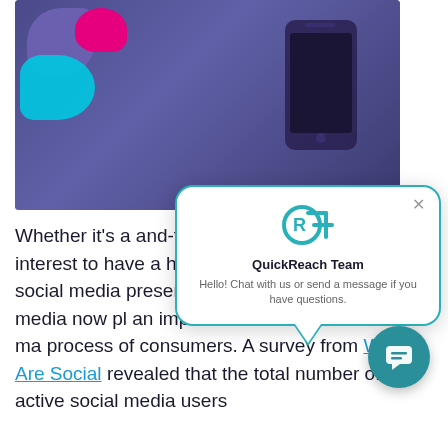[Figure (screenshot): Hero image showing a person holding a smartphone against a purple-tinted dark background, with colorful blobs (purple, pink, cyan) in top-left corner. A QuickReach chat widget popup overlays the lower-right, showing the QR logo, 'QuickReach Team', and 'Hello! Chat with us or send a message if you have questions.' A teal circular chat button is also visible.]
Whether it's a and-tested p innovative se interest to have a healthy and highly visible social media presence – especially since social media now pl an important role in the decision-ma process of consumers. A survey from We Are Social revealed that the total number of active social media users